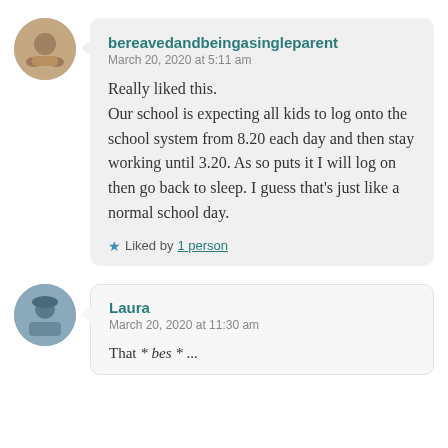bereavedandbeingasingleparent
March 20, 2020 at 5:11 am

Really liked this.
Our school is expecting all kids to log onto the school system from 8.20 each day and then stay working until 3.20. As so puts it I will log on then go back to sleep. I guess that's just like a normal school day.

Liked by 1 person
Laura
March 20, 2020 at 11:30 am

That * bes * ...